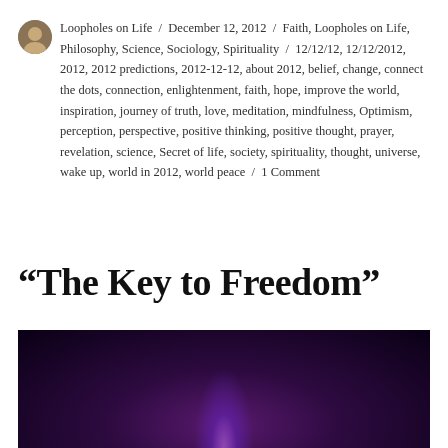Loopholes on Life / December 12, 2012 / Faith, Loopholes on Life, Philosophy, Science, Sociology, Spirituality / 12/12/12, 12/12/2012, 2012, 2012 predictions, 2012-12-12, about 2012, belief, change, connect the dots, connection, enlightenment, faith, hope, improve the world, inspiration, journey of truth, love, meditation, mindfulness, Optimism, perception, perspective, positive thinking, positive thought, prayer, revelation, science, Secret of life, society, spirituality, thought, universe, wake up, world in 2012, world peace / 1 Comment
“The Key to Freedom”
[Figure (photo): Dark image with deep purple/violet background and a glowing purple light source at the bottom center, suggesting a mystical or spiritual atmosphere.]